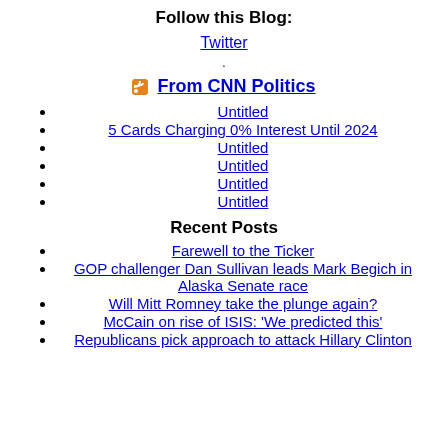Follow this Blog:
Twitter
.
From CNN Politics
Untitled
5 Cards Charging 0% Interest Until 2024
Untitled
Untitled
Untitled
Untitled
Recent Posts
Farewell to the Ticker
GOP challenger Dan Sullivan leads Mark Begich in Alaska Senate race
Will Mitt Romney take the plunge again?
McCain on rise of ISIS: 'We predicted this'
Republicans pick approach to attack Hillary Clinton